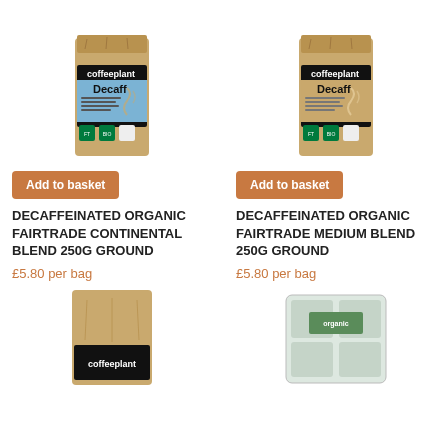[Figure (photo): Kraft paper bag of Coffeeplant Decaff Decaffeinated Organic Fairtrade Continental Blend 250g Ground coffee with blue label]
[Figure (photo): Kraft paper bag of Coffeeplant Decaff Decaffeinated Organic Fairtrade Medium Blend 250g Ground coffee with tan/brown label]
Add to basket
Add to basket
DECAFFEINATED ORGANIC FAIRTRADE CONTINENTAL BLEND 250G GROUND
DECAFFEINATED ORGANIC FAIRTRADE MEDIUM BLEND 250G GROUND
£5.80 per bag
£5.80 per bag
[Figure (photo): Kraft paper bag of Coffeeplant coffee, bottom portion visible]
[Figure (photo): Clear plastic packaged coffee product with green label, bottom portion visible]